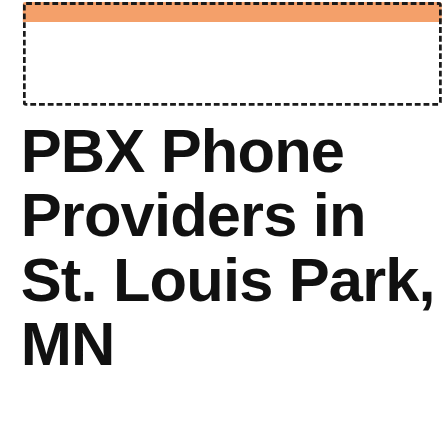[Figure (other): Orange bar and dashed border rectangle decorative header element]
PBX Phone Providers in St. Louis Park, MN
Office Phone Systems in Minnesota
Tagged With: business phones in St. Louis Park MN, office phones in St. Louis Park MN, PBX Phones in St. Louis Park MN
Searching for a business phone solution in St. Louis Park, MN? Would you like to compare office phone system prices from local providers in St. Louis Park, MN? A whole new world opened to the business community with internet